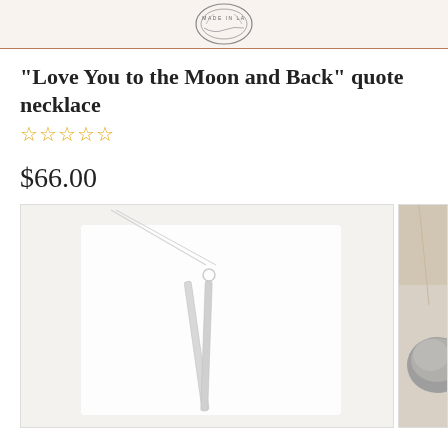[Figure (logo): Round stamp logo with text 'MADE IN LA' inside]
"Love You to the Moon and Back" quote necklace
☆☆☆☆☆ (star rating, 0 stars)
$66.00
[Figure (photo): Close-up photo of a silver bar necklace with stamped text 'LOVE YOU TO THE MOON AND BACK' on a white background]
[Figure (photo): Partial photo showing a stone/rock with a necklace chain, blurred background]